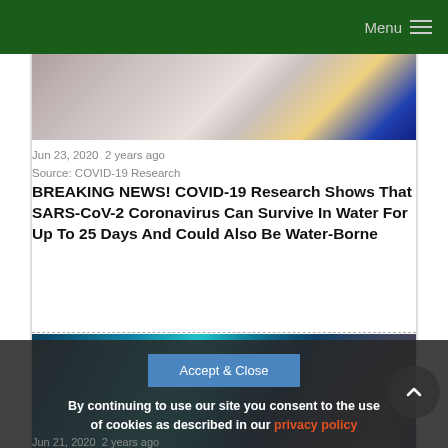Menu
[Figure (photo): Close-up photo of SARS-CoV-2 coronavirus particles — grey and yellow viral particles on a light background]
Jun 23, 2020  2 years ago
Source: COVID-19 Research
BREAKING NEWS! COVID-19 Research Shows That SARS-CoV-2 Coronavirus Can Survive In Water For Up To 25 Days And Could Also Be Water-Borne
[Figure (photo): Scientific illustration of a coronavirus particle (blue-green) next to a DNA double helix strand, with red cell-like shapes in the background]
By continuing to use our site you consent to the use of cookies as described in our privacy policy
Jun 21, 2020  2 years ago